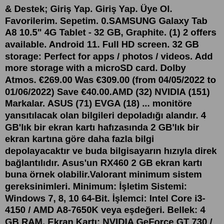& Destek; Giriş Yap. Giriş Yap. Üye Ol. Favorilerim. Sepetim. 0.SAMSUNG Galaxy Tab A8 10.5" 4G Tablet - 32 GB, Graphite. (1) 2 offers available. Android 11. Full HD screen. 32 GB storage: Perfect for apps / photos / videos. Add more storage with a microSD card. Dolby Atmos. €269.00 Was €309.00 (from 04/05/2022 to 01/06/2022) Save €40.00.AMD (32) NVIDIA (151) Markalar. ASUS (71) EVGA (18) ... monitöre yansıtılacak olan bilgileri depoladığı alandır. 4 GB'lık bir ekran kartı hafızasında 2 GB'lık bir ekran kartına göre daha fazla bilgi depolayacaktır ve buda bilgisayarın hızıyla direk bağlantılıdır. Asus'un RX460 2 GB ekran kartı buna örnek olabilir.Valorant minimum sistem gereksinimleri. Minimum: İşletim Sistemi: Windows 7, 8, 10 64-Bit. İşlemci: Intel Core i3-4150 / AMD A8-7650K veya eşdeğeri. Bellek: 4 GB RAM. Ekran Kartı: NVIDIA GeForce GT 730 / AMD Radeon R5 240. Depolama: 8 GB kullanılabilir alan. DirectX: Sürüm 11. Kendi bilgisayarım:Doğuya özgü MMORPG. Dünya çapında milyonlarca etkin oyuncu. Düşük sistem